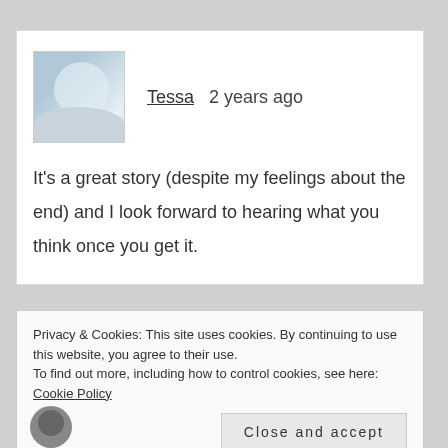[Figure (photo): Profile picture avatar showing a soft-focus person in light clothing against a light background]
Tessa   2 years ago
It's a great story (despite my feelings about the end) and I look forward to hearing what you think once you get it.
Privacy & Cookies: This site uses cookies. By continuing to use this website, you agree to their use.
To find out more, including how to control cookies, see here: Cookie Policy
Close and accept